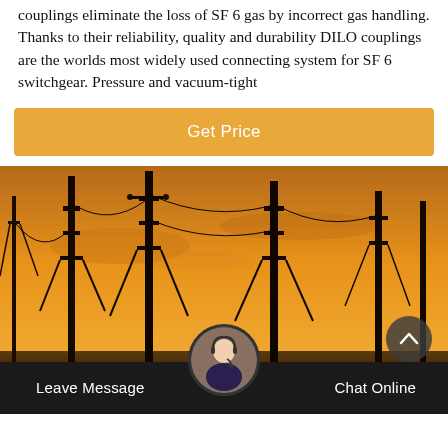couplings eliminate the loss of SF 6 gas by incorrect gas handling. Thanks to their reliability, quality and durability DILO couplings are the worlds most widely used connecting system for SF 6 switchgear. Pressure and vacuum-tight
Get Price
[Figure (photo): Silhouette of electrical substation towers and transmission lines against an orange sunset sky]
Leave Message
Chat Online